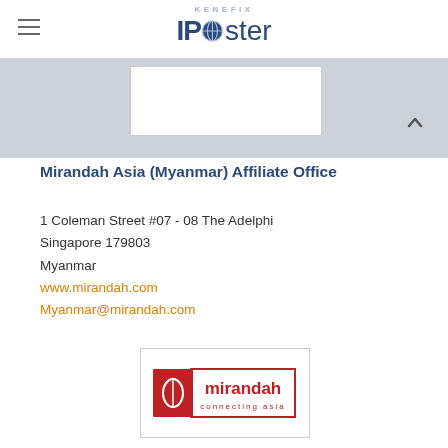KENEFIX IPcoster
[Figure (screenshot): Top banner area with a white box on gray background]
Mirandah Asia (Myanmar) Affiliate Office
1 Coleman Street #07 - 08 The Adelphi
Singapore 179803
Myanmar
www.mirandah.com
Myanmar@mirandah.com
[Figure (logo): Mirandah connecting asia logo - red fish icon with red text mirandah and connecting asia]
NI NI MYINT LAW OFFICE MYANMAR